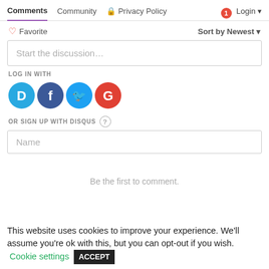Comments  Community  Privacy Policy  Login
Favorite  Sort by Newest
Start the discussion…
LOG IN WITH
[Figure (illustration): Social login icons: Disqus (D), Facebook (f), Twitter bird, Google (G)]
OR SIGN UP WITH DISQUS ?
Name
Be the first to comment.
This website uses cookies to improve your experience. We'll assume you're ok with this, but you can opt-out if you wish.  Cookie settings  ACCEPT